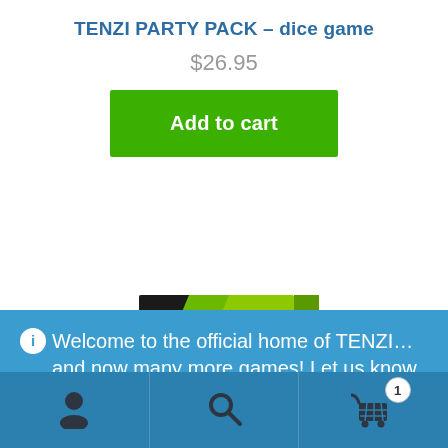TENZI PARTY PACK – dice game
$26.95
Add to cart
[Figure (photo): Product box image of TENZI Party Pack dice game, green and black box]
Welcome to the official home of TENZI… and now many more games! Let us know how you like our sites and our games. We'd love to get your feedback!
Dismiss